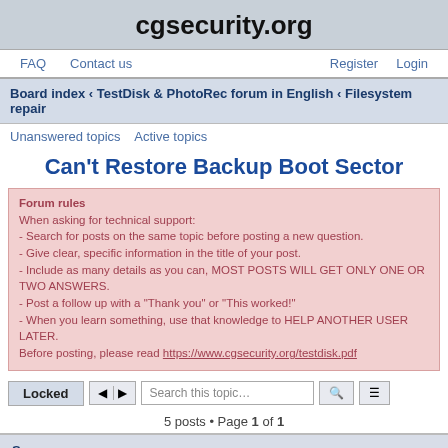cgsecurity.org
FAQ  Contact us  Register  Login
Board index ‹ TestDisk & PhotoRec forum in English ‹ Filesystem repair
Unanswered topics  Active topics
Can't Restore Backup Boot Sector
Forum rules
When asking for technical support:
- Search for posts on the same topic before posting a new question.
- Give clear, specific information in the title of your post.
- Include as many details as you can, MOST POSTS WILL GET ONLY ONE OR TWO ANSWERS.
- Post a follow up with a "Thank you" or "This worked!"
- When you learn something, use that knowledge to HELP ANOTHER USER LATER.
Before posting, please read https://www.cgsecurity.org/testdisk.pdf
Locked  Search this topic…
5 posts • Page 1 of 1
Snap
Can't Restore Backup Boot Sector
#1  23 May 2012, 00:40